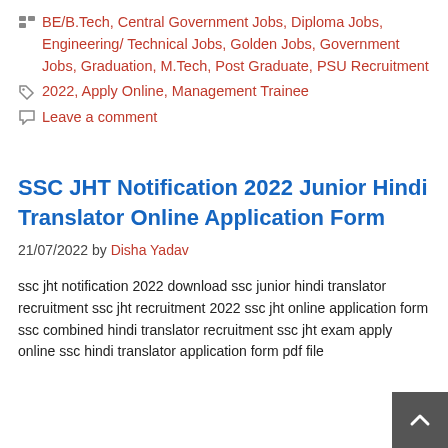BE/B.Tech, Central Government Jobs, Diploma Jobs, Engineering/ Technical Jobs, Golden Jobs, Government Jobs, Graduation, M.Tech, Post Graduate, PSU Recruitment
2022, Apply Online, Management Trainee
Leave a comment
SSC JHT Notification 2022 Junior Hindi Translator Online Application Form
21/07/2022 by Disha Yadav
ssc jht notification 2022 download ssc junior hindi translator recruitment ssc jht recruitment 2022 ssc jht online application form ssc combined hindi translator recruitment ssc jht exam apply online ssc hindi translator application form pdf file